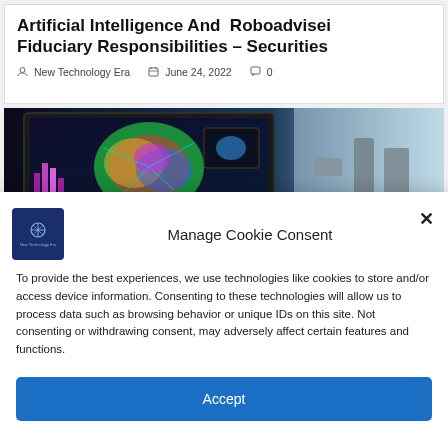Artificial Intelligence And  Roboadviser Fiduciary Responsibilities – Securities
New Technology Era   June 24, 2022   0
[Figure (photo): A computer monitor displaying a colorful 3D AI/brain visualization graphic on a dark background, with other devices in the background]
Manage Cookie Consent
To provide the best experiences, we use technologies like cookies to store and/or access device information. Consenting to these technologies will allow us to process data such as browsing behavior or unique IDs on this site. Not consenting or withdrawing consent, may adversely affect certain features and functions.
Accept